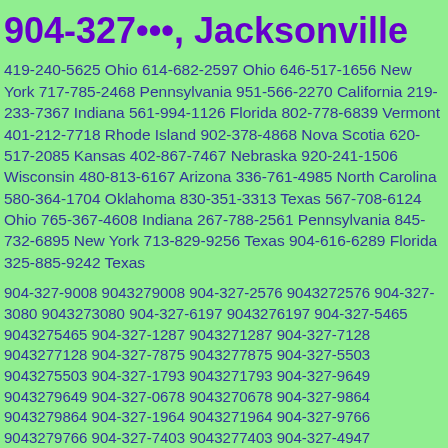904-327•••, Jacksonville
419-240-5625 Ohio 614-682-2597 Ohio 646-517-1656 New York 717-785-2468 Pennsylvania 951-566-2270 California 219-233-7367 Indiana 561-994-1126 Florida 802-778-6839 Vermont 401-212-7718 Rhode Island 902-378-4868 Nova Scotia 620-517-2085 Kansas 402-867-7467 Nebraska 920-241-1506 Wisconsin 480-813-6167 Arizona 336-761-4985 North Carolina 580-364-1704 Oklahoma 830-351-3313 Texas 567-708-6124 Ohio 765-367-4608 Indiana 267-788-2561 Pennsylvania 845-732-6895 New York 713-829-9256 Texas 904-616-6289 Florida 325-885-9242 Texas
904-327-9008 9043279008 904-327-2576 9043272576 904-327-3080 9043273080 904-327-6197 9043276197 904-327-5465 9043275465 904-327-1287 9043271287 904-327-7128 9043277128 904-327-7875 9043277875 904-327-5503 9043275503 904-327-1793 9043271793 904-327-9649 9043279649 904-327-0678 9043270678 904-327-9864 9043279864 904-327-1964 9043271964 904-327-9766 9043279766 904-327-7403 9043277403 904-327-4947 9043274947 904-327-0372 9043270372 904-327-1257 9043271257 904-327-2776 9043272776 904-327-3543 9043273543 904-327-1572 9043271572 904-327-1036 9043271036 904-327-0287 9043270287 904-327-9571 9043279571 904-327-7127 9043277127 904-327-5271 9043275271 904-327-...